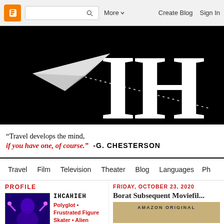Blogger navigation bar with search, More, Create Blog, Sign In
[Figure (logo): Blog header banner with black background, paper airplane graphic and partial white serif letters 'IH' with dotted trail line]
"Travel develops the mind, if you have one, of course." -G. CHESTERSON
Travel  Film  Television  Theater  Blog  Languages  Ph...
PROFILE
IHCAHIEH
Polyglot • Frustrated Figure Skater • Alien
VIEW MY COMPLETE
FRIDAY, OCTOBER 23, 2020
Borat Subsequent Moviefil...
[Figure (photo): Amazon Original movie thumbnail showing a character in a blue swimsuit-style outfit against beige background with text AMAZON ORIGINAL]